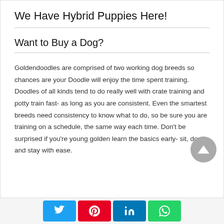We Have Hybrid Puppies Here!
Want to Buy a Dog?
Goldendoodles are comprised of two working dog breeds so chances are your Doodle will enjoy the time spent training. Doodles of all kinds tend to do really well with crate training and potty train fast- as long as you are consistent. Even the smartest breeds need consistency to know what to do, so be sure you are training on a schedule, the same way each time. Don't be surprised if you're young golden learn the basics early- sit, down, and stay with ease.